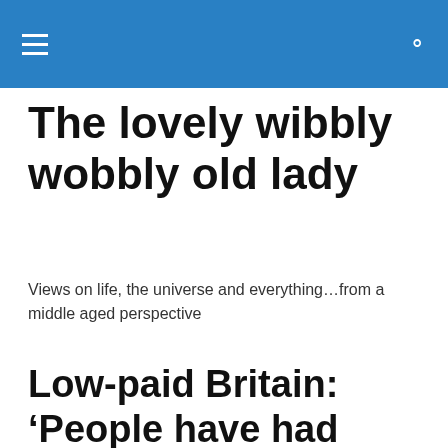The lovely wibbly wobbly old lady
Views on life, the universe and everything…from a middle aged perspective
Low-paid Britain: ‘People have had enough. It’s soul
Privacy & Cookies: This site uses cookies. By continuing to use this website, you agree to their use.
To find out more, including how to control cookies, see here: Cookie Policy
yes, they have gone to bat for it people realised ‘scru